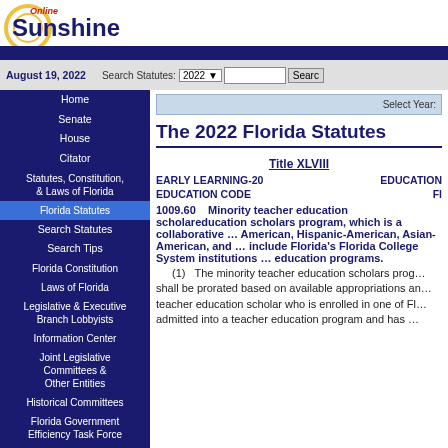Online Sunshine — August 19, 2022
Search Statutes: 2022
Home
Senate
House
Citator
Statutes, Constitution, & Laws of Florida
Florida Statutes
Search Statutes
Search Tips
Florida Constitution
Laws of Florida
Legislative & Executive Branch Lobbyists
Information Center
Joint Legislative Committees & Other Entities
Historical Committees
Florida Government Efficiency Task Force
Legislative Employment
Legistore
Select Year:
The 2022 Florida Statutes
Title XLVIII
EARLY LEARNING-20 EDUCATION CODE
1009.60 Minority teacher education scholars program, which is a collaborative ... American, Hispanic-American, Asian-American, and ... include Florida's Florida College System institutions ... education programs.
(1) The minority teacher education scholars program shall be prorated based on available appropriations and ... teacher education scholar who is enrolled in one of Fl... admitted into a teacher education program and has ...